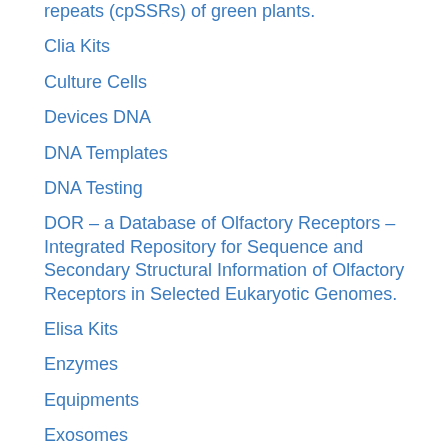repeats (cpSSRs) of green plants.
Clia Kits
Culture Cells
Devices DNA
DNA Templates
DNA Testing
DOR – a Database of Olfactory Receptors – Integrated Repository for Sequence and Secondary Structural Information of Olfactory Receptors in Selected Eukaryotic Genomes.
Elisa Kits
Enzymes
Equipments
Exosomes
Gels